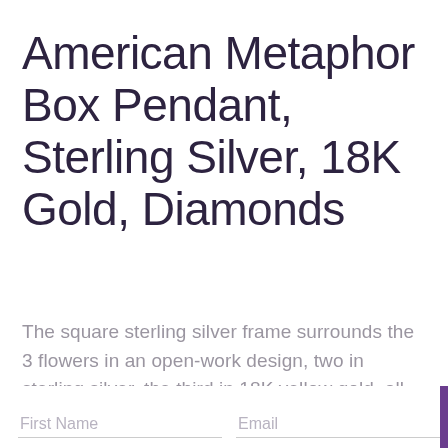American Metaphor Box Pendant, Sterling Silver, 18K Gold, Diamonds
The square sterling silver frame surrounds the 3 flowers in an open-work design, two in sterling silver, the third in 18K yellow gold, all with fine white diamond centers, weighing a total of 0.10 ct (E-F color, clarity VS1/VS2, clarity approximately)